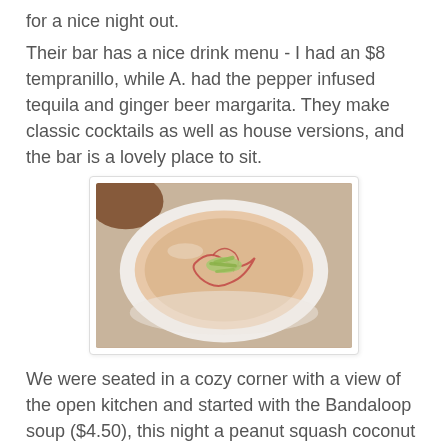for a nice night out.
Their bar has a nice drink menu - I had an $8 tempranillo, while A. had the pepper infused tequila and ginger beer margarita. They make classic cocktails as well as house versions, and the bar is a lovely place to sit.
[Figure (photo): A white bowl of creamy soup topped with green garnish and red drizzle, photographed from above on a white table.]
We were seated in a cozy corner with a view of the open kitchen and started with the Bandaloop soup ($4.50), this night a peanut squash coconut spicy bisque. And it was